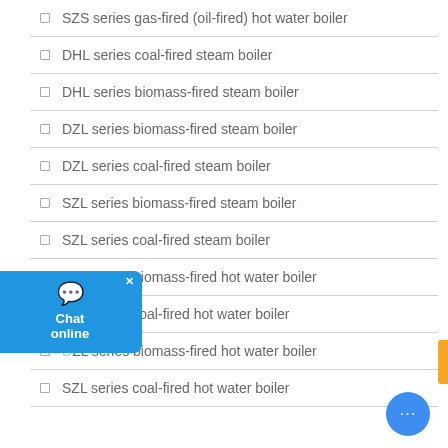❑ SZS series gas-fired (oil-fired) hot water boiler
❑ DHL series coal-fired steam boiler
❑ DHL series biomass-fired steam boiler
❑ DZL series biomass-fired steam boiler
❑ DZL series coal-fired steam boiler
❑ SZL series biomass-fired steam boiler
❑ SZL series coal-fired steam boiler
❑ DZL series biomass-fired hot water boiler
❑ SZL series coal-fired hot water boiler
❑ DZL series biomass-fired hot water boiler
❑ SZL series coal-fired hot water boiler